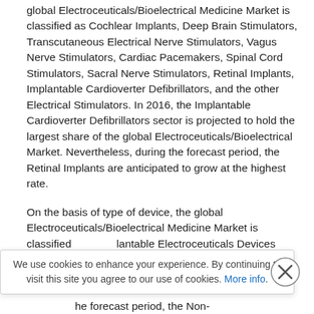global Electroceuticals/Bioelectrical Medicine Market is classified as Cochlear Implants, Deep Brain Stimulators, Transcutaneous Electrical Nerve Stimulators, Vagus Nerve Stimulators, Cardiac Pacemakers, Spinal Cord Stimulators, Sacral Nerve Stimulators, Retinal Implants, Implantable Cardioverter Defibrillators, and the other Electrical Stimulators. In 2016, the Implantable Cardioverter Defibrillators sector is projected to hold the largest share of the global Electroceuticals/Bioelectrical Market. Nevertheless, during the forecast period, the Retinal Implants are anticipated to grow at the highest rate.
On the basis of type of device, the global Electroceuticals/Bioelectrical Medicine Market is classified lantable Electroceuticals Devices uticals Devices. As of 2016, the s Devices dominate the largest s/Bioelectrical Medicine Market. he forecast period, the Non- evices is estimated to grow at the
We use cookies to enhance your experience. By continuing to visit this site you agree to our use of cookies. More info.